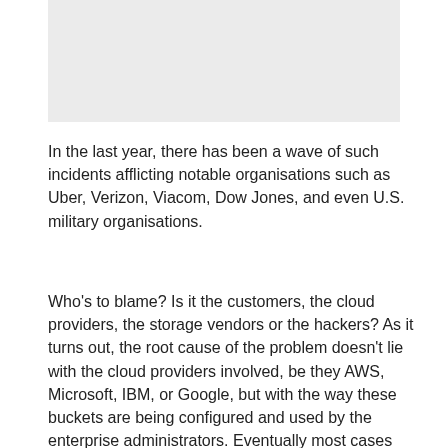[Figure (other): Gray placeholder image rectangle at top of page]
In the last year, there has been a wave of such incidents afflicting notable organisations such as Uber, Verizon, Viacom, Dow Jones, and even U.S. military organisations.
Who's to blame? Is it the customers, the cloud providers, the storage vendors or the hackers? As it turns out, the root cause of the problem doesn't lie with the cloud providers involved, be they AWS, Microsoft, IBM, or Google, but with the way these buckets are being configured and used by the enterprise administrators. Eventually most cases can be drilled down to the age-old problem of user error –